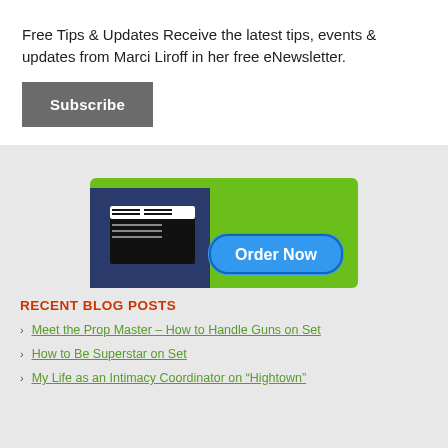× (close button)
Free Tips & Updates Receive the latest tips, events & updates from Marci Liroff in her free eNewsletter.
Subscribe
[Figure (illustration): Advertisement banner showing a person holding a clapperboard on a green background with an 'Order Now' blue button.]
RECENT BLOG POSTS
Meet the Prop Master – How to Handle Guns on Set
How to Be Superstar on Set
My Life as an Intimacy Coordinator on "Hightown"